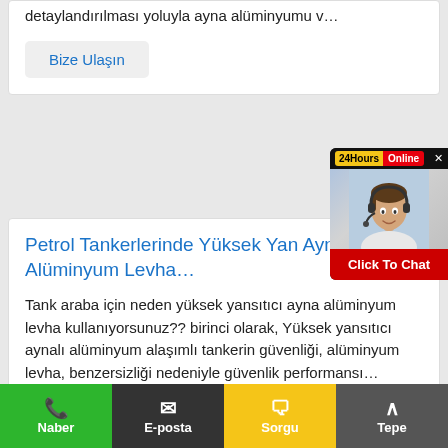detaylandırılması yoluyla ayna alüminyumu v…
Bize Ulaşın
[Figure (photo): 24Hours Online chat widget with a woman wearing a headset, and a 'Click To Chat' button]
Petrol Tankerlerinde Yüksek Yan Aynalı Alüminyum Levha…
Tank araba için neden yüksek yansıtıcı ayna alüminyum levha kullanıyorsunuz?? birinci olarak, Yüksek yansıtıcı aynalı alüminyum alaşımlı tankerin güvenliği, alüminyum levha, benzersizliği nedeniyle güvenlik performansı…
Bize Ulaşın
Naber  E-posta  Sorgu  Tepe